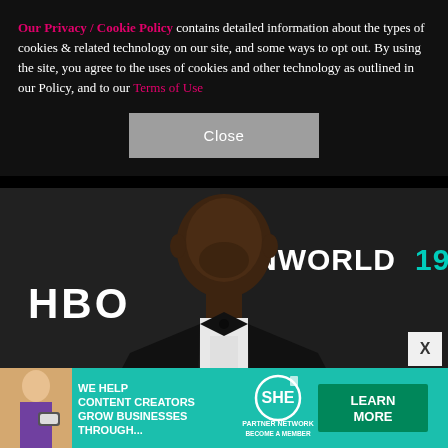Our Privacy / Cookie Policy contains detailed information about the types of cookies & related technology on our site, and some ways to opt out. By using the site, you agree to the uses of cookies and other technology as outlined in our Policy, and to our Terms of Use
[Figure (other): A gray Close button on dark background]
[Figure (photo): A man in a tuxedo with bow tie at an HBO Westworld 19 event backdrop]
[Figure (infographic): Advertisement banner: We Help Content Creators Grow Businesses Through... SHE Partner Network Become a Member - Learn More button]